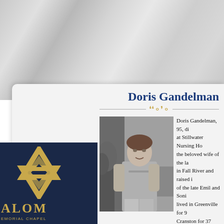[Figure (illustration): Marble texture background at top of page]
[Figure (logo): Star of David in gold on navy blue sidebar, with text SHALOM MEMORIAL CHAPEL below it]
Home
Contact
About »
Doris Gandelman
[Figure (photo): Black and white photograph of Doris Gandelman, an elderly woman standing indoors near a plant]
Doris Gandelman, 95, di... at Stillwater Nursing Ho... the beloved wife of the la... in Fall River and raised i... of the late Emil and Soni... lived in Greenville for 9 ... Cranston for 37 years, th... years. A graduate of Hope High, she attended URI for ... owner of the former People's Department Store in Pro... for many decades. Devoted mother of Alan Gandelman... Johnston; Bruce Gandelman and his wife, Terry...